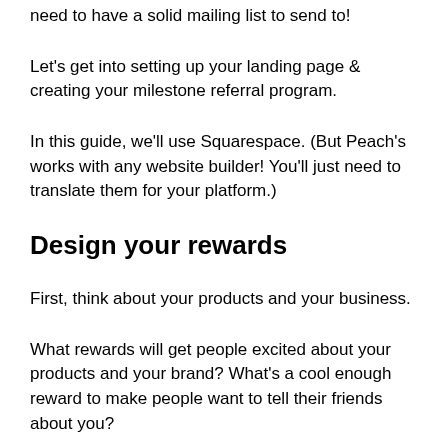need to have a solid mailing list to send to!
Let's get into setting up your landing page & creating your milestone referral program.
In this guide, we'll use Squarespace. (But Peach's works with any website builder! You'll just need to translate them for your platform.)
Design your rewards
First, think about your products and your business.
What rewards will get people excited about your products and your brand? What's a cool enough reward to make people want to tell their friends about you?
For Harry's (the company that makes razors and shaving products), they had four milestones in their program. When someone referred five friends, they'd get free shave cream. At